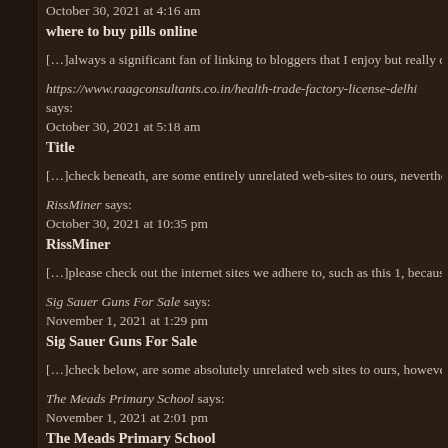October 30, 2021 at 4:16 am
where to buy pills online
[…]always a significant fan of linking to bloggers that I enjoy but really do
https://www.raagconsultants.co.in/health-trade-factory-license-delhi says:
October 30, 2021 at 5:18 am
Title
[…]check beneath, are some entirely unrelated web-sites to ours, neverthele
RissMiner says:
October 30, 2021 at 10:35 pm
RissMiner
[…]please check out the internet sites we adhere to, such as this 1, because
Sig Sauer Guns For Sale says:
November 1, 2021 at 1:29 pm
Sig Sauer Guns For Sale
[…]check below, are some absolutely unrelated web sites to ours, however
The Meads Primary School says:
November 1, 2021 at 2:01 pm
The Meads Primary School
[…]The info mentioned inside the post are several of the most effective off